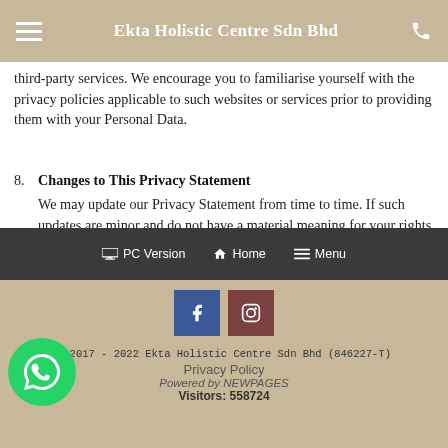Ekta Holistic Centre Sdn Bhd
third-party services. We encourage you to familiarise yourself with the privacy policies applicable to such websites or services prior to providing them with your Personal Data.
8. Changes to This Privacy Statement
We may update our Privacy Statement from time to time. If such updates are minor and do not have a material meaning for your rights or the way we use Personal Data, we may make such changes without posting a specific notice on our website. You are advised to review this Privacy Statement periodically for any changes.
PC Version  Home  Menu
© 2017 - 2022 Ekta Holistic Centre Sdn Bhd (846227-T)
Privacy Policy
Powered by NEWPAGES
Visitors: 558724